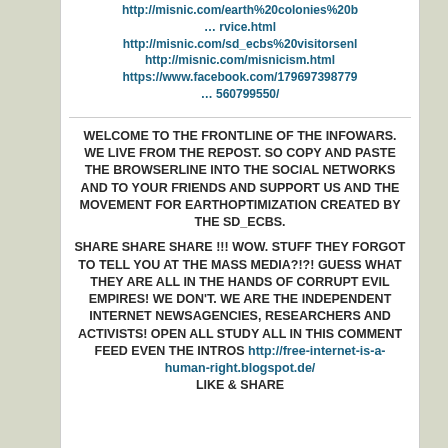http://misnic.com/earth%20colonies%20b… rvice.html
http://misnic.com/sd_ecbs%20visitorsenl
http://misnic.com/misnicism.html
https://www.facebook.com/179697398779… 560799550/
WELCOME TO THE FRONTLINE OF THE INFOWARS. WE LIVE FROM THE REPOST. SO COPY AND PASTE THE BROWSERLINE INTO THE SOCIAL NETWORKS AND TO YOUR FRIENDS AND SUPPORT US AND THE MOVEMENT FOR EARTHOPTIMIZATION CREATED BY THE SD_ECBS.
SHARE SHARE SHARE !!! WOW. STUFF THEY FORGOT TO TELL YOU AT THE MASS MEDIA?!?! GUESS WHAT THEY ARE ALL IN THE HANDS OF CORRUPT EVIL EMPIRES! WE DON'T. WE ARE THE INDEPENDENT INTERNET NEWSAGENCIES, RESEARCHERS AND ACTIVISTS! OPEN ALL STUDY ALL IN THIS COMMENT FEED EVEN THE INTROS http://free-internet-is-a-human-right.blogspot.de/ LIKE & SHARE